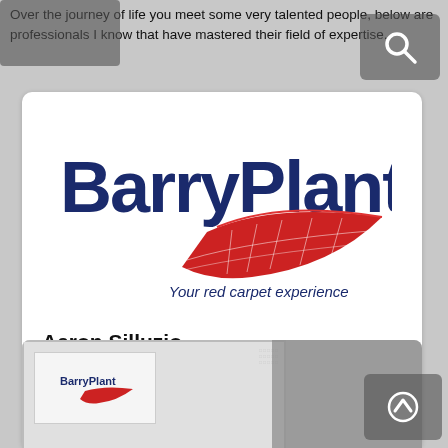Over the journey of life you meet some very talented people, below are professionals I know that have mastered their field of expertise.
[Figure (logo): Barry Plant real estate logo with text 'Your red carpet experience' and red swoosh graphic]
Aaron Silluzio
Real Estate
http://www.barryplant.com.au/eltham/
[Figure (photo): Partial view of a second card/listing below, showing what appears to be business cards or stationery with a logo, partially obscured]